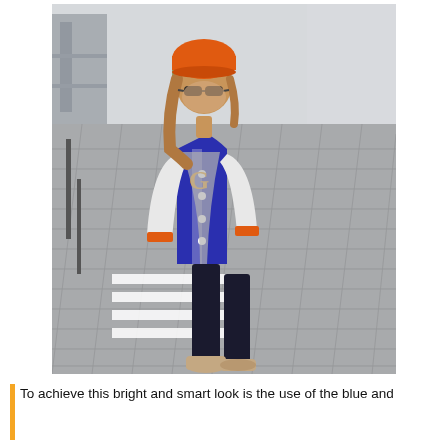[Figure (photo): A young woman walking on a paved urban street. She wears an orange beanie hat, aviator sunglasses, a blue and white letterman/varsity jacket with 'G' letter patch and orange stripe cuffs, a grey cardigan, black skinny jeans, and tan wedge sneakers. City street background with bollards and greenery.]
To achieve this bright and smart look is the use of the blue and